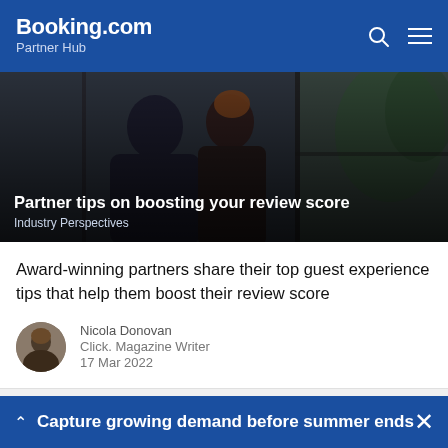Booking.com Partner Hub
[Figure (photo): Two people at a doorway, hero image for article about boosting review scores]
Partner tips on boosting your review score
Industry Perspectives
Award-winning partners share their top guest experience tips that help them boost their review score
Nicola Donovan
Click. Magazine Writer
17 Mar 2022
Capture growing demand before summer ends